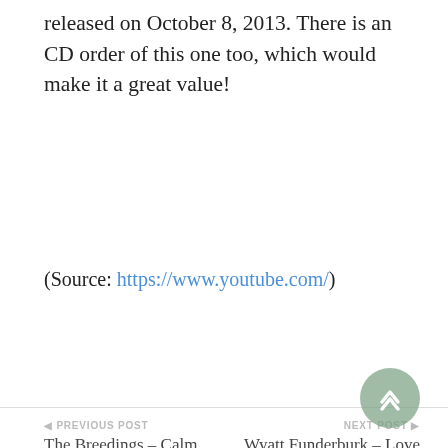released on October 8, 2013. There is an CD order of this one too, which would make it a great value!
(Source: https://www.youtube.com/)
◀ PREVIOUS POST
The Breedings – Calm
NEXT POST ▶
Wyatt Funderburk – Love Will Lead The Way
Leave a Reply
Your email address will not be published. Required fields are marked *